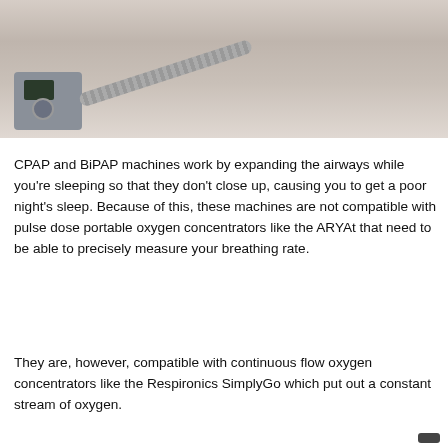[Figure (photo): Person lying in bed wearing a CPAP mask connected via corrugated hose to a CPAP machine on a bedside table. The machine is silver/grey with a small digital display screen and round knob.]
CPAP and BiPAP machines work by expanding the airways while you're sleeping so that they don't close up, causing you to get a poor night's sleep. Because of this, these machines are not compatible with pulse dose portable oxygen concentrators like the ARYAt that need to be able to precisely measure your breathing rate.
They are, however, compatible with continuous flow oxygen concentrators like the Respironics SimplyGo which put out a constant stream of oxygen.